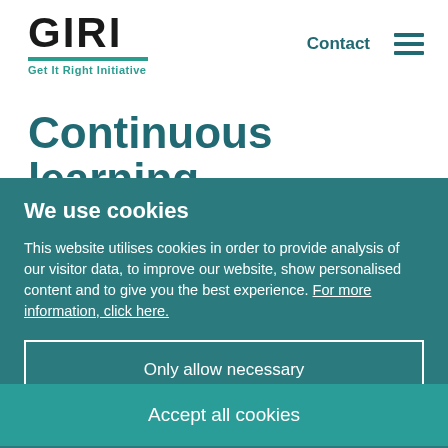[Figure (logo): GIRI logo — bold black GIRI text, teal underline, teal tagline 'Get It Right Initiative']
Contact
Continuous learning
We use cookies
This website utilises cookies in order to provide analysis of our visitor data, to improve our website, show personalised content and to give you the best experience. For more information, click here.
Only allow necessary
Accept all cookies